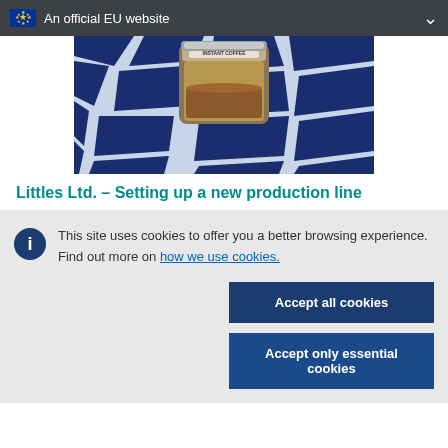An official EU website
[Figure (photo): A jar of instant coffee with a blue and white geometric patterned background]
Littles Ltd. – Setting up a new production line
This site uses cookies to offer you a better browsing experience. Find out more on how we use cookies.
Accept all cookies
Accept only essential cookies